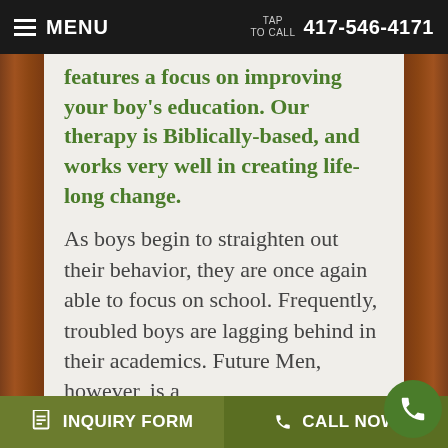MENU   TAP TO CALL   417-546-4171
features a focus on improving your boy's education. Our therapy is Biblically-based, and works very well in creating life-long change.
As boys begin to straighten out their behavior, they are once again able to focus on school. Frequently, troubled boys are lagging behind in their academics. Future Men, however, is a
INQUIRY FORM   CALL NOW